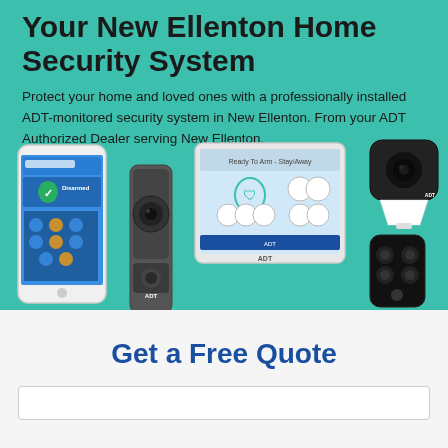Your New Ellenton Home Security System
Protect your home and loved ones with a professionally installed ADT-monitored security system in New Ellenton. From your ADT Authorized Dealer serving New Ellenton.
[Figure (photo): ADT security system devices: smartphone with ADT app, doorbell camera, touchscreen control panel, security camera on stand, and key fob remote control, displayed on a teal background.]
Get a Free Quote